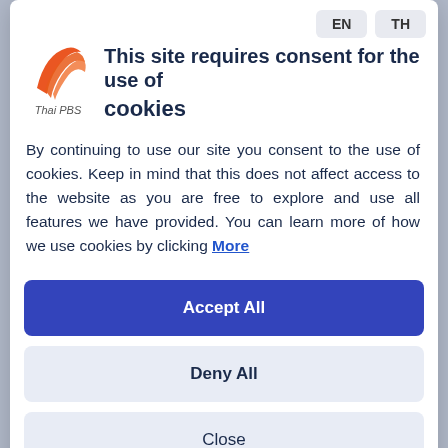[Figure (logo): Thai PBS logo — red/orange stylized bird/checkmark graphic with 'Thai PBS' text below]
This site requires consent for the use of cookies
By continuing to use our site you consent to the use of cookies. Keep in mind that this does not affect access to the website as you are free to explore and use all features we have provided. You can learn more of how we use cookies by clicking More
Accept All
Deny All
Close